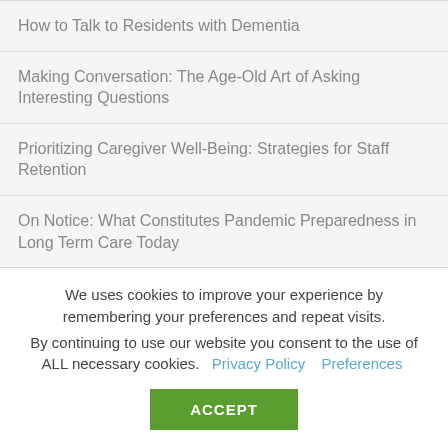How to Talk to Residents with Dementia
Making Conversation: The Age-Old Art of Asking Interesting Questions
Prioritizing Caregiver Well-Being: Strategies for Staff Retention
On Notice: What Constitutes Pandemic Preparedness in Long Term Care Today
We uses cookies to improve your experience by remembering your preferences and repeat visits. By continuing to use our website you consent to the use of ALL necessary cookies.
Privacy Policy  Preferences
ACCEPT